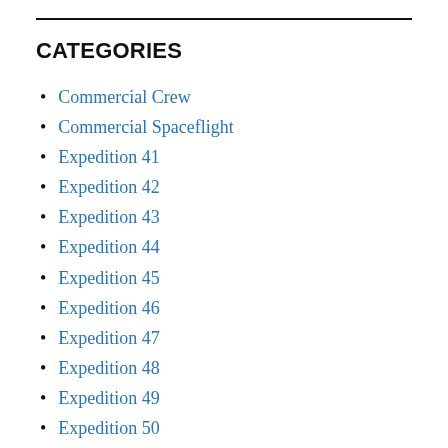CATEGORIES
Commercial Crew
Commercial Spaceflight
Expedition 41
Expedition 42
Expedition 43
Expedition 44
Expedition 45
Expedition 46
Expedition 47
Expedition 48
Expedition 49
Expedition 50
Expedition 51